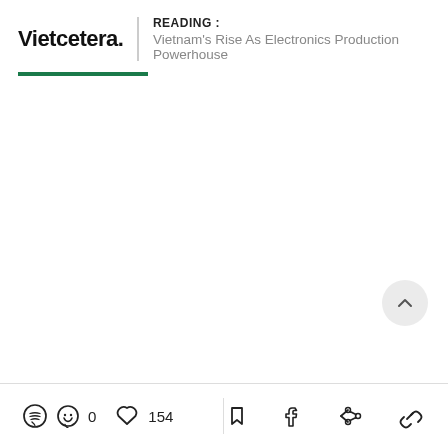Vietcetera. | READING : Vietnam's Rise As Electronics Production Powerhouse
[Figure (screenshot): Scroll-to-top circular button with an upward chevron arrow, light gray background]
0 comments, 154 likes, bookmark, Facebook share, link share icons